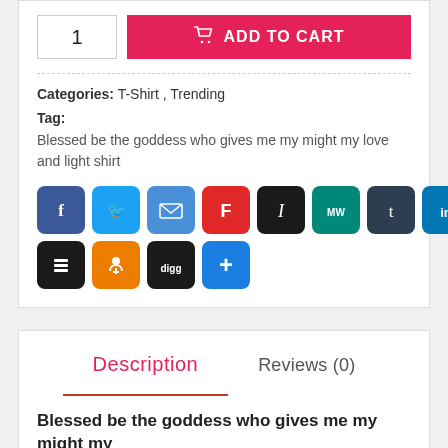1
ADD TO CART
Categories: T-Shirt , Trending
Tag:
Blessed be the goddess who gives me my might my love and light shirt
[Figure (other): Social sharing icons row 1: Facebook, Twitter, Email, Flipboard, Instapaper, Medium Weekly, Tumblr, LinkedIn, Pocket]
[Figure (other): Social sharing icons row 2: Buffer, Odnoklassniki, Digg, ShareThis]
Description
Reviews (0)
Blessed be the goddess who gives me my might my